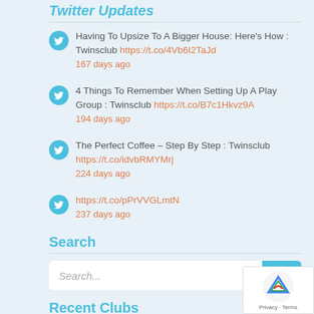Twitter Updates
Having To Upsize To A Bigger House: Here's How : Twinsclub https://t.co/4Vb6I2TaJd 167 days ago
4 Things To Remember When Setting Up A Play Group : Twinsclub https://t.co/B7c1Hkvz9A 194 days ago
The Perfect Coffee – Step By Step : Twinsclub https://t.co/idvbRMYMrj 224 days ago
https://t.co/pPrVVGLmtN 237 days ago
Search
Search...
Recent Clubs